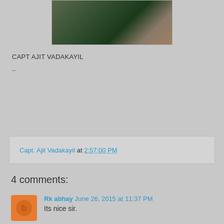[Figure (photo): Partial photo of a person, cropped at the top of the page]
CAPT AJIT VADAKAYIL
..
Capt. Ajit Vadakayil at 2:57:00 PM
4 comments:
Rk abhay  June 26, 2015 at 11:37 PM
Its nice sir.